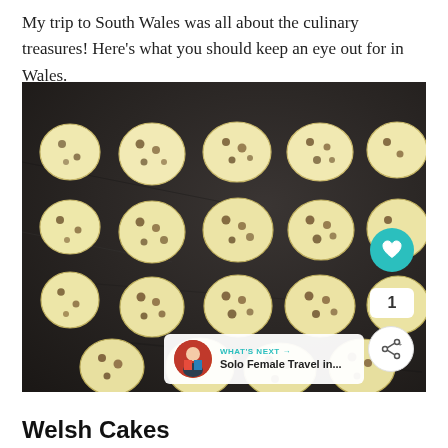My trip to South Wales was all about the culinary treasures! Here's what you should keep an eye out for in Wales.
[Figure (photo): A dark baking tray/griddle with many round Welsh cakes (small, pale, circular griddle cakes with currants/raisins) arranged in rows. The tray is well-used and dark. Social media UI overlays visible including a teal heart button, a share button, a '1' count badge, and a 'WHAT'S NEXT → Solo Female Travel in...' overlay.]
Welsh Cakes